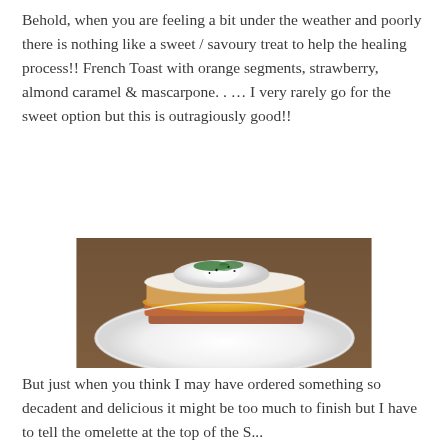Behold, when you are feeling a bit under the weather and poorly there is nothing like a sweet / savoury treat to help the healing process!! French Toast with orange segments, strawberry, almond caramel & mascarpone. . ... I very rarely go for the sweet option but this is outragiously good!!
[Figure (photo): Photo of a plate of layered French Toast topped with a fried egg, garnished with chopped green herbs and black pepper, served on a white plate with a wooden background.]
But just when you think I may have ordered something so decadent and delicious it might be too much to finish but I have to tell the omelette at the top of the S...